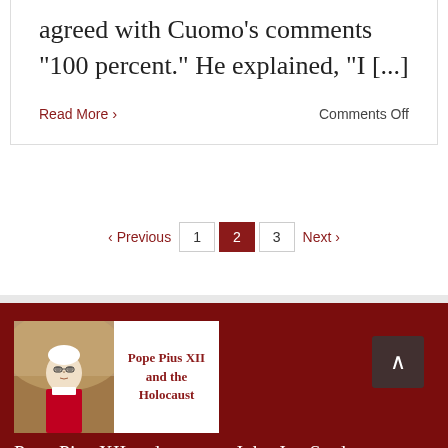agreed with Cuomo's comments "100 percent." He explained, "I [...]
Read More
Comments Off
‹ Previous  1  2  3  Next ›
[Figure (photo): Book cover showing Pope Pius XII photo on left and title 'Pope Pius XII and the Holocaust' on white background on right]
Pope Pius XII and
John Jay Study Undermined by Its